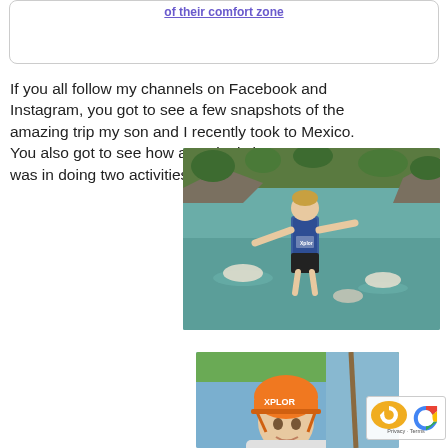of their comfort zone
If you all follow my channels on Facebook and Instagram, you got to see a few snapshots of the amazing trip my son and I recently took to Mexico. You also got to see how amazingly brave my son was in doing two activities
[Figure (photo): Child in blue life vest jumping with arms spread wide over a green river with people tubing below, rocky cliffs and trees in background]
[Figure (photo): Child wearing orange Xplor helmet, smiling at camera outdoors]